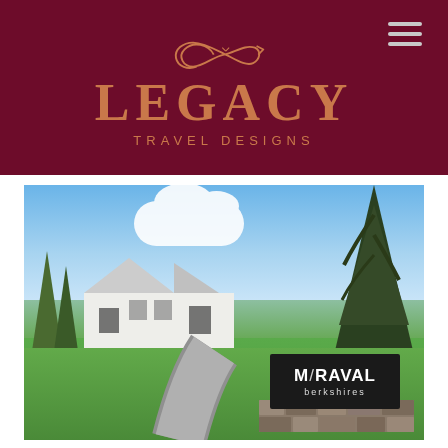[Figure (logo): Legacy Travel Designs logo on dark maroon/burgundy background with copper/rose-gold colored infinity-arrow symbol above the text LEGACY in serif font and TRAVEL DESIGNS in sans-serif spaced caps. Hamburger menu icon in top right corner.]
[Figure (photo): Exterior photo of Miraval Berkshires resort showing a white modern barn-style building with dark trees on both sides, a curved driveway, green lawn, and blue sky with clouds. A stone wall with a black sign reading 'MIRAVAL berkshires' is visible in the lower right.]